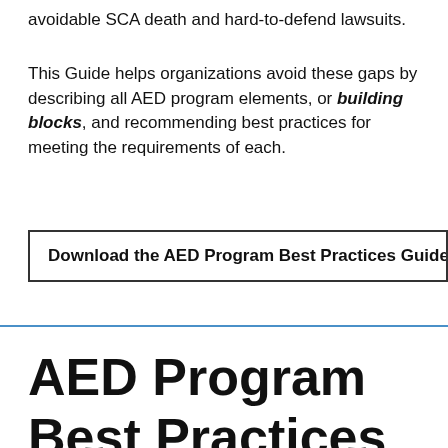avoidable SCA death and hard-to-defend lawsuits.
This Guide helps organizations avoid these gaps by describing all AED program elements, or building blocks, and recommending best practices for meeting the requirements of each.
Download the AED Program Best Practices Guide PD
AED Program Best Practices